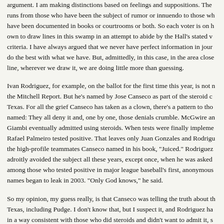argument. I am making distinctions based on feelings and suppositions. The spectrum runs from those who have been the subject of rumor or innuendo to those who have been documented in books or courtrooms or both. So each voter is on his own to draw lines in this swamp in an attempt to abide by the Hall's stated voting criteria. I have always argued that we never have perfect information in journalism and do the best with what we have. But, admittedly, in this case, in the area close to the line, wherever we draw it, we are doing little more than guessing.
Ivan Rodriguez, for example, on the ballot for the first time this year, is not named in the Mitchell Report. But he's named by Jose Canseco as part of the steroid culture in Texas. For all the grief Canseco has taken as a clown, there's a pattern to those he's named: They all deny it and, one by one, those denials crumble. McGwire and Giambi eventually admitted using steroids. When tests were finally implemented, Rafael Palmeiro tested positive. That leaves only Juan Gonzales and Rodriguez of the high-profile teammates Canseco named in his book, "Juiced." Rodriguez has adroitly avoided the subject all these years, except once, when he was asked if he was among those who tested positive in major league baseball's first, anonymous test whose names began to leak in 2003. "Only God knows," he said.
So my opinion, my guess really, is that Canseco was telling the truth about the Rangers in Texas, including Pudge. I don't know that, but I suspect it, and Rodriguez has behaved in a way consistent with those who did steroids and didn't want to admit it, so I'm not voting for him in his first year on the ballot, even though I probably would otherwise.
I get that a lot of people will find these distinctions untenable. And they are. I would note for the record that the religion that has grown up around the Mit...